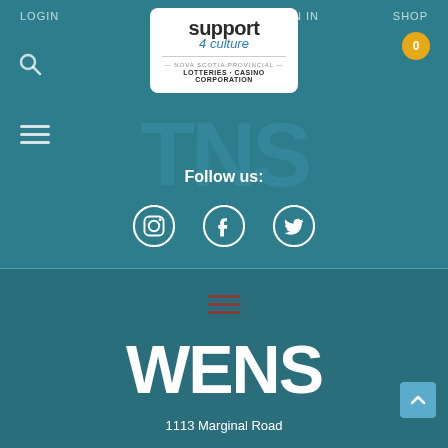LOGIN   SIGN IN   SHOP
[Figure (logo): Support 4 Culture logo with Nova Scotia Provincial Lotteries Casino Corporation text]
[Figure (illustration): TNS large letters in teal background]
Follow us:
[Figure (illustration): Instagram, Facebook, and Twitter social media icons]
[Figure (illustration): Hamburger menu icon in dark red]
[Figure (logo): WENS large white logo text]
1113 Marginal Road